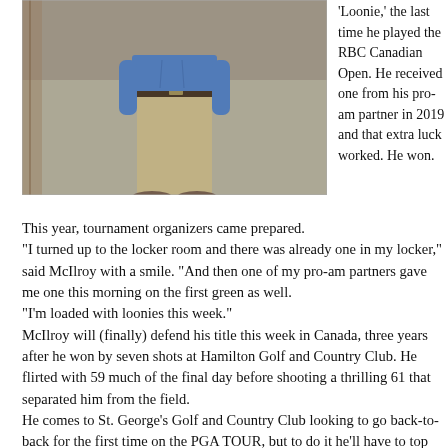[Figure (photo): A golfer wearing a blue shirt and light khaki trousers, photographed from the waist down, standing outdoors near what appears to be a wooden structure.]
'Loonie,' the last time he played the RBC Canadian Open. He received one from his pro-am partner in 2019 and that extra luck worked. He won.
This year, tournament organizers came prepared.
“I turned up to the locker room and there was already one in my locker,” said McIlroy with a smile. “And then one of my pro-am partners gave me one this morning on the first green as well.
“I’m loaded with loonies this week.”
McIlroy will (finally) defend his title this week in Canada, three years after he won by seven shots at Hamilton Golf and Country Club. He flirted with 59 much of the final day before shooting a thrilling 61 that separated him from the field.
He comes to St. George’s Golf and Country Club looking to go back-to-back for the first time on the PGA TOUR, but to do it he’ll have to top one